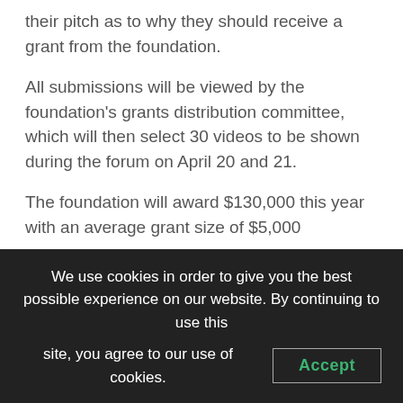their pitch as to why they should receive a grant from the foundation.
All submissions will be viewed by the foundation's grants distribution committee, which will then select 30 videos to be shown during the forum on April 20 and 21.
The foundation will award $130,000 this year with an average grant size of $5,000
The grants will be awarded in seven field of interest.
Arts and Culture
Health & Wellness
We use cookies in order to give you the best possible experience on our website. By continuing to use this site, you agree to our use of cookies.